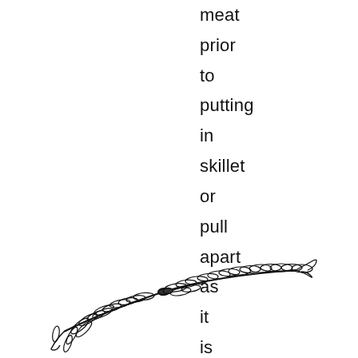meat prior to putting in skillet or pull apart as it is heating.
[Figure (illustration): Black and white line drawing of two rosemary sprigs placed horizontally, with needle-like leaves radiating from the stems.]